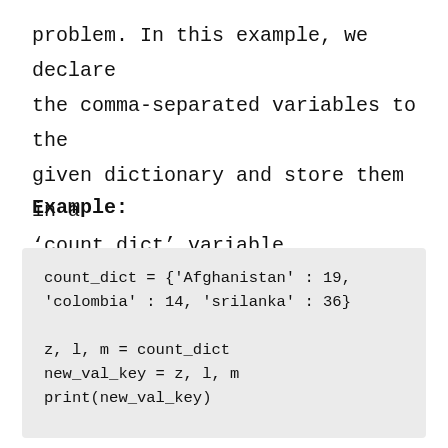problem. In this example, we declare the comma-separated variables to the given dictionary and store them in a ‘count_dict’ variable.
Example:
count_dict = {'Afghanistan' : 19,
'colombia' : 14, 'srilanka' : 36}

z, l, m = count_dict
new_val_key = z, l, m
print(new_val_key)